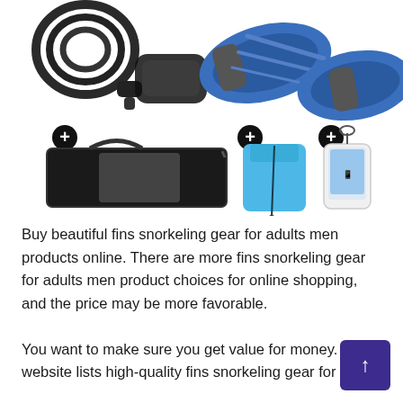[Figure (photo): Product photo showing snorkeling gear set: top half shows a black snorkel/mask and blue/gray swim fins. Bottom half shows three accessories with plus signs between them: a black mesh carrying bag, a blue drawstring bag, and a waterproof phone case with lanyard.]
Buy beautiful fins snorkeling gear for adults men products online. There are more fins snorkeling gear for adults men product choices for online shopping, and the price may be more favorable.

You want to make sure you get value for money. This website lists high-quality fins snorkeling gear for adults